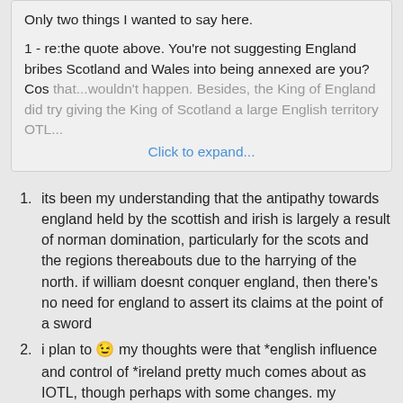Only two things I wanted to say here.

1 - re:the quote above. You're not suggesting England bribes Scotland and Wales into being annexed are you? Cos that...wouldn't happen. Besides, the King of England did try giving the King of Scotland a large English territory OTL...
Click to expand...
its been my understanding that the antipathy towards england held by the scottish and irish is largely a result of norman domination, particularly for the scots and the regions thereabouts due to the harrying of the north. if william doesnt conquer england, then there's no need for england to assert its claims at the point of a sword
i plan to [wink emoji] my thoughts were that *english influence and control of *ireland pretty much comes about as IOTL, though perhaps with some changes. my thoughts were that *ireland still eventually gets de facto independence even though the OTL republic of ireland never comes to be ITTL